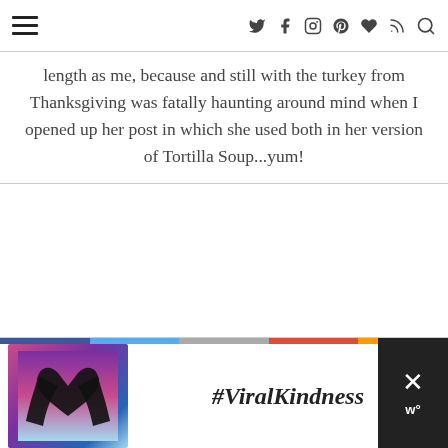Navigation header with hamburger menu and social icons (Twitter, Facebook, Instagram, Pinterest, Heart, RSS, Search)
length as me, because and still with the turkey from Thanksgiving was fatally haunting around mind when I opened up her post in which she used both in her version of Tortilla Soup...yum!
[Figure (photo): Advertisement banner at the bottom featuring a silhouette of hands forming a heart shape against a colorful sunset sky, with the text #ViralKindness]